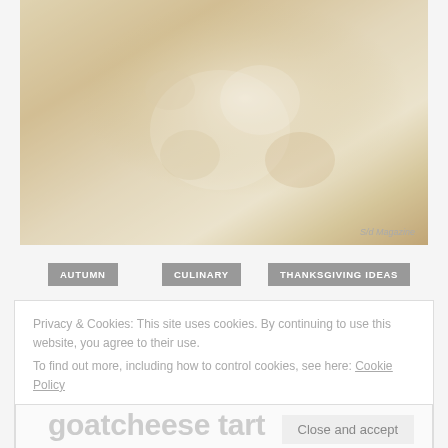[Figure (photo): Faded/washed-out photo of autumn flowers and decorations in a bowl on a wooden surface, with a credit reading 'S/d Magazine' in the bottom right corner]
AUTUMN
CULINARY
THANKSGIVING IDEAS
Privacy & Cookies: This site uses cookies. By continuing to use this website, you agree to their use.
To find out more, including how to control cookies, see here: Cookie Policy
Close and accept
goatcheese tart